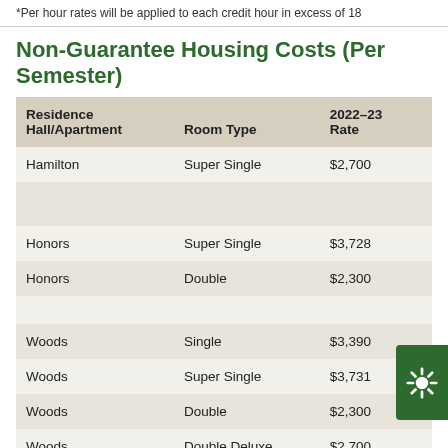*Per hour rates will be applied to each credit hour in excess of 18
Non-Guarantee Housing Costs (Per Semester)
| Residence Hall/Apartment | Room Type | 2022–23 Rate |
| --- | --- | --- |
| Hamilton | Super Single | $2,700 |
| Honors | Super Single | $3,728 |
| Honors | Double | $2,300 |
| Woods | Single | $3,390 |
| Woods | Super Single | $3,731 |
| Woods | Double | $2,300 |
| Woods | Double Deluxe | $2,700 |